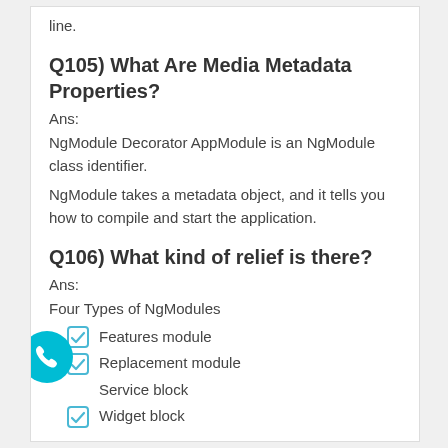line.
Q105) What Are Media Metadata Properties?
Ans:
NgModule Decorator AppModule is an NgModule class identifier.
NgModule takes a metadata object, and it tells you how to compile and start the application.
Q106) What kind of relief is there?
Ans:
Four Types of NgModules
Features module
Replacement module
Service block
Widget block